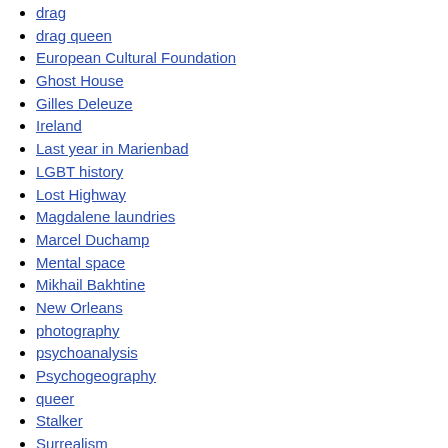drag
drag queen
European Cultural Foundation
Ghost House
Gilles Deleuze
Ireland
Last year in Marienbad
LGBT history
Lost Highway
Magdalene laundries
Marcel Duchamp
Mental space
Mikhail Bakhtine
New Orleans
photography
psychoanalysis
Psychogeography
queer
Stalker
Surrealism
Surrealism and Paris
Tricyclic Transform
Truth/reality/illusion
Urban Exploration
Video Art